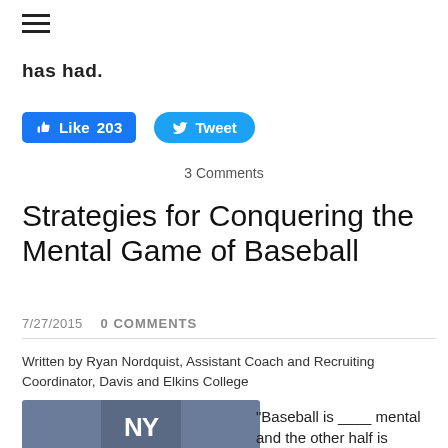≡
has had.
[Figure (other): Facebook Like button showing 203 likes and Twitter Tweet button]
3 Comments
Strategies for Conquering the Mental Game of Baseball
7/27/2015   0 COMMENTS
Written by Ryan Nordquist, Assistant Coach and Recruiting Coordinator, Davis and Elkins College
[Figure (photo): Photo of a New York Yankees navy blue baseball cap with the NY logo]
"Baseball is ____ mental and the other half is physical."